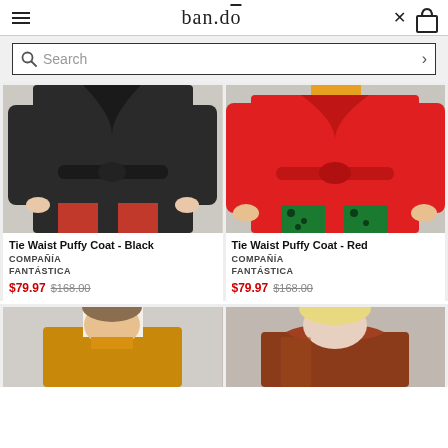ban.dō — hamburger menu, close, cart
Search
[Figure (photo): Woman wearing a black tie waist puffy coat with red trousers]
Tie Waist Puffy Coat - Black
COMPAÑÍA FANTÁSTICA
$79.97  $168.00
[Figure (photo): Woman wearing a red tie waist puffy coat with green floral trousers]
Tie Waist Puffy Coat - Red
COMPAÑÍA FANTÁSTICA
$79.97  $168.00
[Figure (photo): Woman in a yellow/mustard jacket — bottom product image left]
[Figure (photo): Woman in a brown/copper ruffled jacket — bottom product image right]